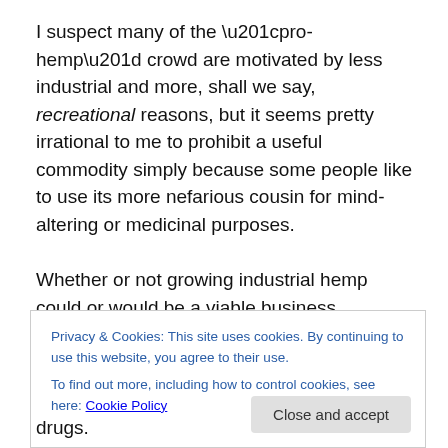I suspect many of the “pro-hemp” crowd are motivated by less industrial and more, shall we say, recreational reasons, but it seems pretty irrational to me to prohibit a useful commodity simply because some people like to use its more nefarious cousin for mind-altering or medicinal purposes.
Whether or not growing industrial hemp could or would be a viable business endeavor, there is a bigger question we
Privacy & Cookies: This site uses cookies. By continuing to use this website, you agree to their use.
To find out more, including how to control cookies, see here: Cookie Policy
Close and accept
drugs.